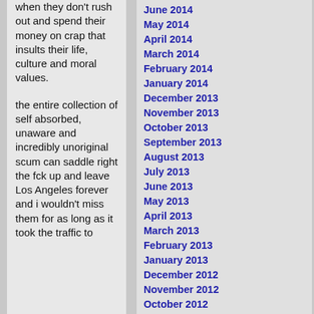when they don't rush out and spend their money on crap that insults their life, culture and moral values.
the entire collection of self absorbed, unaware and incredibly unoriginal scum can saddle right the fck up and leave Los Angeles forever and i wouldn't miss them for as long as it took the traffic to
June 2014
May 2014
April 2014
March 2014
February 2014
January 2014
December 2013
November 2013
October 2013
September 2013
August 2013
July 2013
June 2013
May 2013
April 2013
March 2013
February 2013
January 2013
December 2012
November 2012
October 2012
September 2012
August 2012
July 2012
June 2012
May 2012
April 2012
March 2012
February 2012
January 2012
December 2011
November 2011